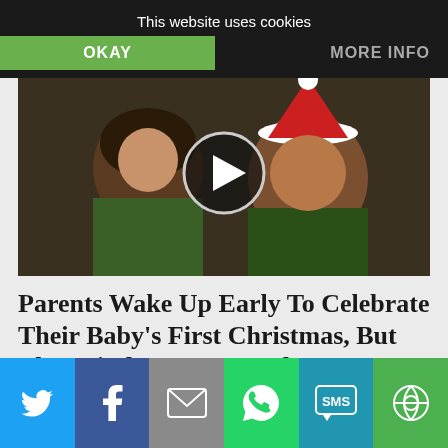This website uses cookies | OKAY | MORE INFO
[Figure (photo): Video thumbnail showing a man wearing a Santa hat and green elf costume, and a woman with curly hair, with a play button overlay in the center]
Parents Wake Up Early To Celebrate Their Baby's First Christmas, But They Find THIS Instead. OMG?!
Somehow Christmas is not the same without kids. True, the tree has to be secured and taking that perfect Christmas photo is practically imp...